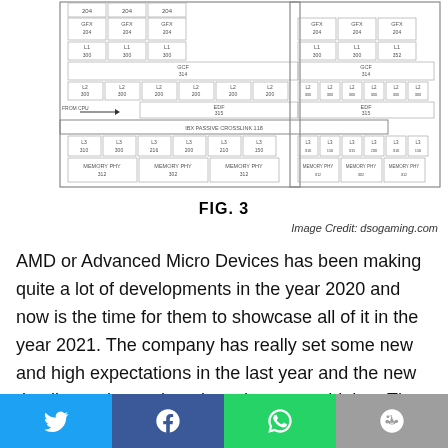[Figure (engineering-diagram): Patent diagram FIG. 3 showing two GPU chip configurations with GFX, L1, GCF, L2, EDF, IBX Passive Crosslink, L3, and Memory PHY blocks. FROM CPU arrow shown on left side.]
FIG. 3
Image Credit: dsogaming.com
AMD or Advanced Micro Devices has been making quite a lot of developments in the year 2020 and now is the time for them to showcase all of it in the year 2021. The company has really set some new and high expectations in the last year and the new details coming up has risen them even higher. The company has submitted a new
[Figure (infographic): Social media share buttons row: Twitter (blue), Facebook (dark blue), WhatsApp (green), Reddit (grey)]